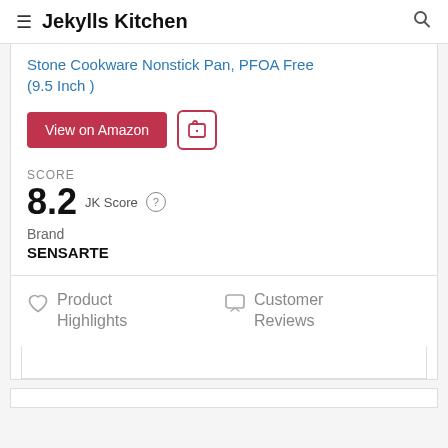Jekylls Kitchen
Stone Cookware Nonstick Pan, PFOA Free (9.5 Inch )
View on Amazon
SCORE
8.2 JK Score
Brand
SENSARTE
Product Highlights
Customer Reviews